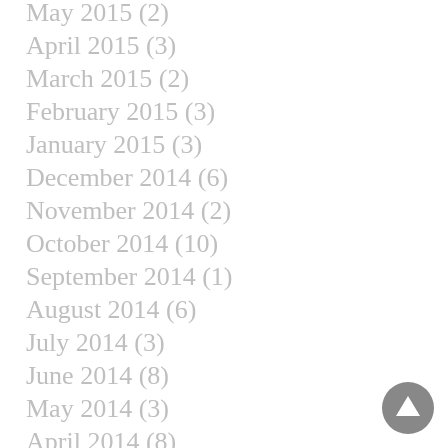May 2015 (2)
April 2015 (3)
March 2015 (2)
February 2015 (3)
January 2015 (3)
December 2014 (6)
November 2014 (2)
October 2014 (10)
September 2014 (1)
August 2014 (6)
July 2014 (3)
June 2014 (8)
May 2014 (3)
April 2014 (8)
March 2014 (8)
February 2014 (1)
January 2014 (7)
[Figure (other): Circular navigation/scroll-to-top button with arrow icon]